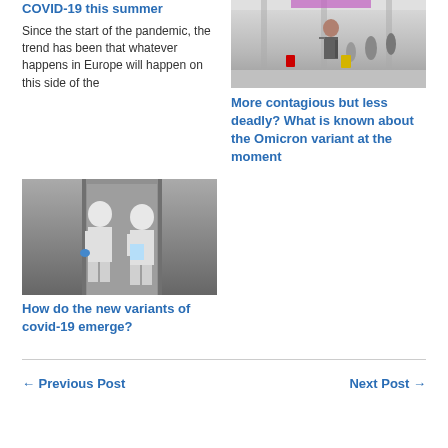COVID-19 this summer
Since the start of the pandemic, the trend has been that whatever happens in Europe will happen on this side of the
[Figure (photo): People walking through an airport terminal with luggage, wearing masks]
More contagious but less deadly? What is known about the Omicron variant at the moment
[Figure (photo): Two people in white hazmat suits standing near a doorway]
How do the new variants of covid-19 emerge?
← Previous Post
Next Post →